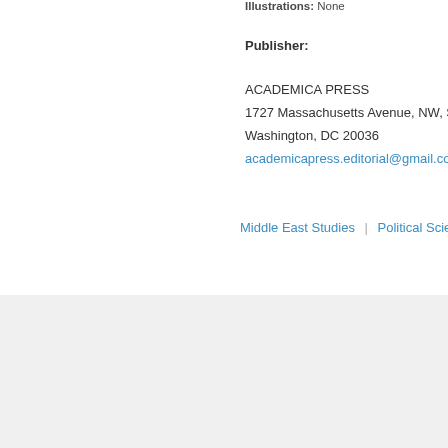Illustrations: None
Publisher:
ACADEMICA PRESS
1727 Massachusetts Avenue, NW, Suite 50
Washington, DC 20036
academicapress.editorial@gmail.com
Middle East Studies | Political Science
Cont
A
1727 Massa
W
editori